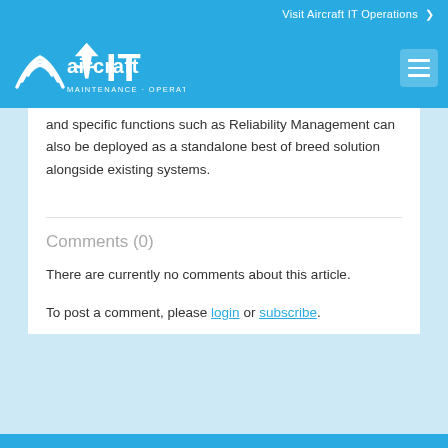Visit Aircraft IT Operations >
[Figure (logo): Aircraft IT Maintenance - Operations logo with airplane icon and wifi signal icon, white text on blue background]
and specific functions such as Reliability Management can also be deployed as a standalone best of breed solution alongside existing systems.
Comments (0)
There are currently no comments about this article.
To post a comment, please login or subscribe.